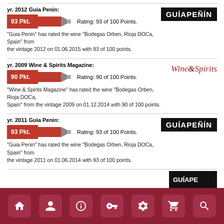yr. 2012 Guia Penin:
Rating: 93 of 100 Points.
"Guia Penin" has rated the wine "Bodegas Orben, Rioja DOCa, Spain" from the vintage 2012 on 01.06.2015 with 93 of 100 points.
yr. 2009 Wine & Spirits Magazine:
Rating: 90 of 100 Points.
"Wine & Spirits Magazine" has rated the wine "Bodegas Orben, Rioja DOCa, Spain" from the vintage 2009 on 01.12.2014 with 90 of 100 points.
yr. 2011 Guia Penin:
Rating: 93 of 100 Points.
"Guia Penin" has rated the wine "Bodegas Orben, Rioja DOCa, Spain" from the vintage 2011 on 01.06.2014 with 93 of 100 points.